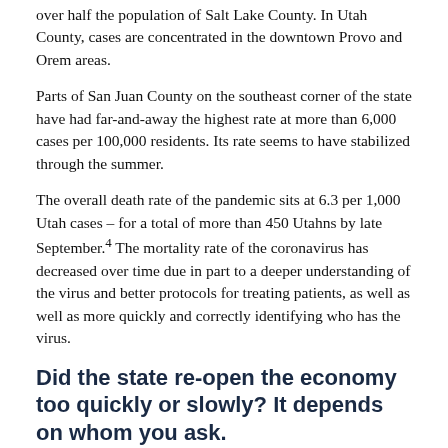over half the population of Salt Lake County. In Utah County, cases are concentrated in the downtown Provo and Orem areas.
Parts of San Juan County on the southeast corner of the state have had far-and-away the highest rate at more than 6,000 cases per 100,000 residents. Its rate seems to have stabilized through the summer.
The overall death rate of the pandemic sits at 6.3 per 1,000 Utah cases – for a total of more than 450 Utahns by late September.4 The mortality rate of the coronavirus has decreased over time due in part to a deeper understanding of the virus and better protocols for treating patients, as well as well as more quickly and correctly identifying who has the virus.
Did the state re-open the economy too quickly or slowly? It depends on whom you ask.